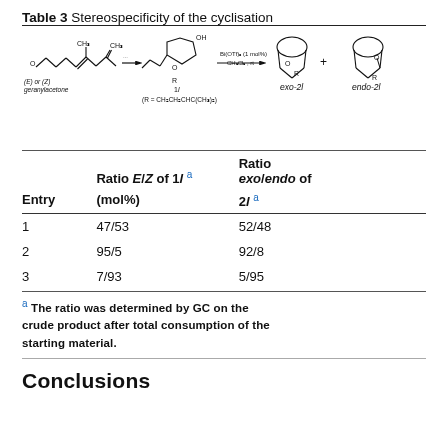Table 3 Stereospecificity of the cyclisation
[Figure (reaction-scheme): Chemical reaction scheme showing geranylacetone (E or Z) converted to intermediate 1l (R = CH2CH2CHC(CH3)2) via Bi(OTf)3 (1 mol%) in CH2Cl2 at rt, yielding exo-2l and endo-2l products.]
| Entry | Ratio E/Z of 1l a (mol%) | Ratio exo/endo of 2l a |
| --- | --- | --- |
| 1 | 47/53 | 52/48 |
| 2 | 95/5 | 92/8 |
| 3 | 7/93 | 5/95 |
a The ratio was determined by GC on the crude product after total consumption of the starting material.
Conclusions